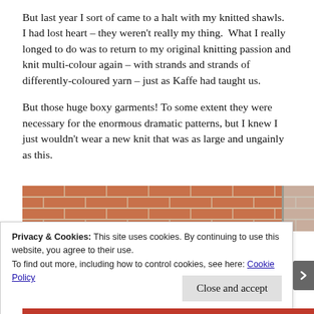But last year I sort of came to a halt with my knitted shawls.  I had lost heart – they weren't really my thing.  What I really longed to do was to return to my original knitting passion and knit multi-colour again – with strands and strands of differently-coloured yarn – just as Kaffe had taught us.
But those huge boxy garments! To some extent they were necessary for the enormous dramatic patterns, but I knew I just wouldn't wear a new knit that was as large and ungainly as this.
[Figure (photo): Partial view of a brick wall with a door or window frame visible on the right side, cropped at top by cookie banner overlay]
Privacy & Cookies: This site uses cookies. By continuing to use this website, you agree to their use.
To find out more, including how to control cookies, see here: Cookie Policy
Close and accept